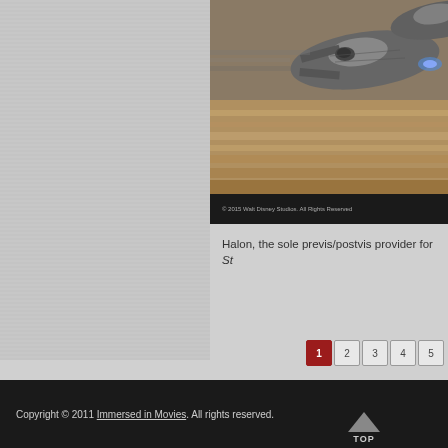[Figure (photo): A blurred cinematic image of the Millennium Falcon spacecraft flying over a sandy desert terrain, with motion blur effect]
© 2015 Walt Disney Studios. All Rights Reserved
Halon, the sole previs/postvis provider for St…
Copyright © 2011 Immersed in Movies. All rights reserved.  1 2 3 4 5  TOP